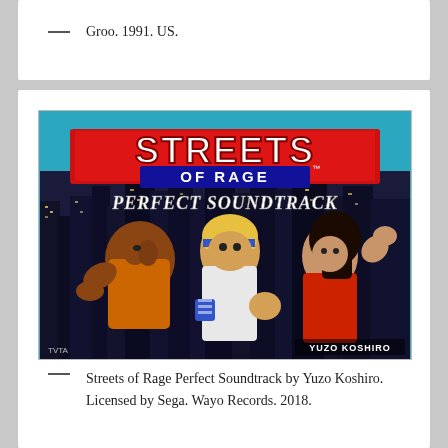— Groo. 1991. US.
[Figure (photo): Album cover of 'Streets of Rage Perfect Soundtrack' by Yuzo Koshiro. The cover shows three fighting game characters in the foreground against a nighttime city skyline. The title 'STREETS OF RAGE' appears in large red stylized letters at the top, with 'PERFECT SOUNDTRACK' in white script below. Bottom right credits 'YUZO KOSHIRO', bottom left shows 'TVTA'. Background is teal/cyan.]
— Streets of Rage Perfect Soundtrack by Yuzo Koshiro. Licensed by Sega. Wayo Records. 2018.